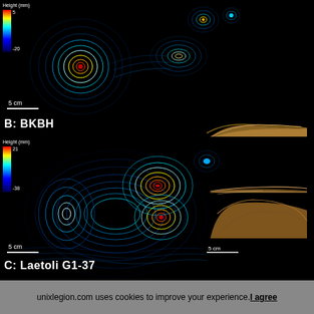[Figure (other): Panel B labeled 'BKBH': Left side shows a false-color topographic contour map (Height in mm, scale 5 to -20) of a footprint with colors ranging from red/yellow (high) to blue/dark (low), with dense contour lines on black background. Scale bar shows 5 cm. Right side shows a 3D side-profile view of the same footprint rendered in tan/brown tones on black background, with a 5 cm scale bar.]
[Figure (other): Panel C labeled 'Laetoli G1-37': Left side shows a false-color topographic contour map (Height in mm, scale 21 to -38) of a footprint with vivid colors on black background. Scale bar shows 5 cm. Right side shows a 3D side-profile view of a deeper footprint in tan/brown tones on black background, with a 5 cm scale bar.]
B: BKBH
C: Laetoli G1-37
unixlegion.com uses cookies to improve your experience. I agree